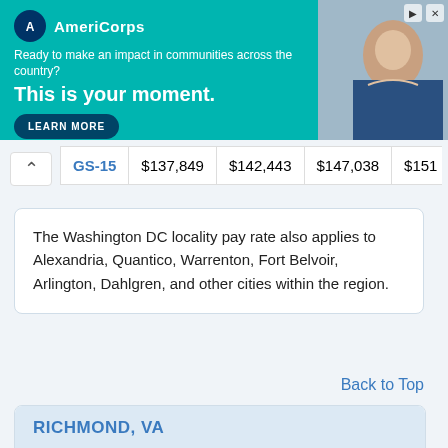[Figure (screenshot): AmeriCorps advertisement banner. Teal background with logo, tagline 'Ready to make an impact in communities across the country?', headline 'This is your moment.', and a LEARN MORE button. Photo of a smiling woman on the right side.]
| Grade | Step 1 | Step 2 | Step 3 | Step 4+ |
| --- | --- | --- | --- | --- |
| GS-15 | $137,849 | $142,443 | $147,038 | $151... |
The Washington DC locality pay rate also applies to Alexandria, Quantico, Warrenton, Fort Belvoir, Arlington, Dahlgren, and other cities within the region.
Back to Top
RICHMOND, VA
The RICHMOND, VA General Schedule locality region applies to government employees who work in Richmond and surrounding areas. General Schedule employees who work within this region